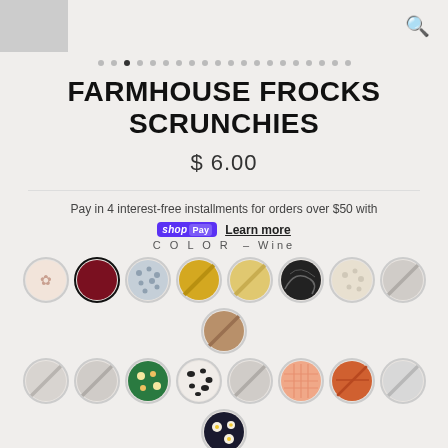[Figure (other): Pagination dots row with one active dot]
FARMHOUSE FROCKS SCRUNCHIES
$ 6.00
Pay in 4 interest-free installments for orders over $50 with shopPay Learn more
COLOR – Wine
[Figure (other): Color swatch circles — row 1: floral pink, wine/dark red (selected), blue polka dot, gold, pale gold, black marble, white floral, gray diagonal, brown diagonal — row 2: gray diagonal, gray diagonal, green floral, black spots, gray diagonal, peach grid, orange floral, light gray, black daisy — partial row 3: gray diagonal]